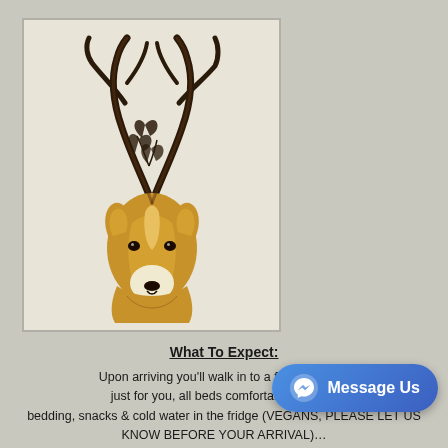[Figure (illustration): A stylized watercolor illustration of a deer (stag) head with large dark antlers decorated with small leaf/branch motifs. The deer face is golden-brown with a white muzzle and dark eyes, set against a pale cream background within a rectangular border.]
What To Expect:
Upon arriving you'll walk in to a freshly Sa… just for you, all beds comfortably made… bedding, snacks & cold water in the fridge (VEGANS, PLEASE LET US KNOW BEFORE YOUR ARRIVAL)…